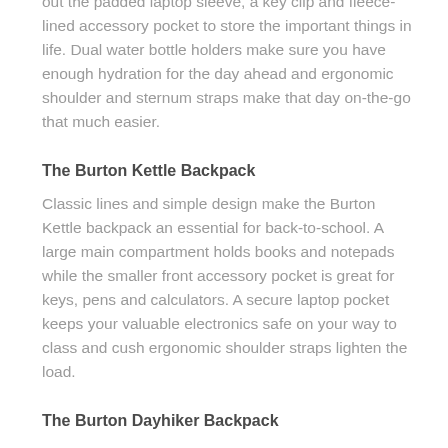out the padded laptop sleeve, a key clip and fleece-lined accessory pocket to store the important things in life. Dual water bottle holders make sure you have enough hydration for the day ahead and ergonomic shoulder and sternum straps make that day on-the-go that much easier.
The Burton Kettle Backpack
Classic lines and simple design make the Burton Kettle backpack an essential for back-to-school. A large main compartment holds books and notepads while the smaller front accessory pocket is great for keys, pens and calculators. A secure laptop pocket keeps your valuable electronics safe on your way to class and cush ergonomic shoulder straps lighten the load.
The Burton Dayhiker Backpack
This Burton snowboard backpack has all the features